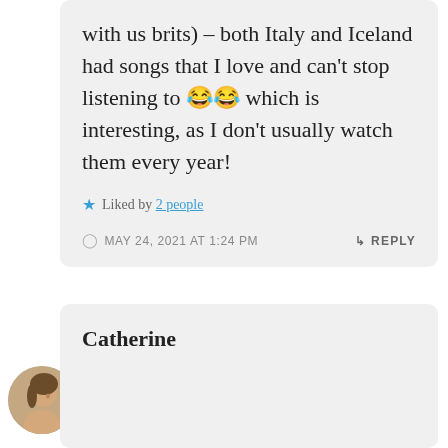with us brits) – both Italy and Iceland had songs that I love and can't stop listening to 😂😂 which is interesting, as I don't usually watch them every year!
★ Liked by 2 people
MAY 24, 2021 AT 1:24 PM   ↳ REPLY
[Figure (photo): Circular avatar photo of a person (Catherine) with brown hair, side profile]
Catherine